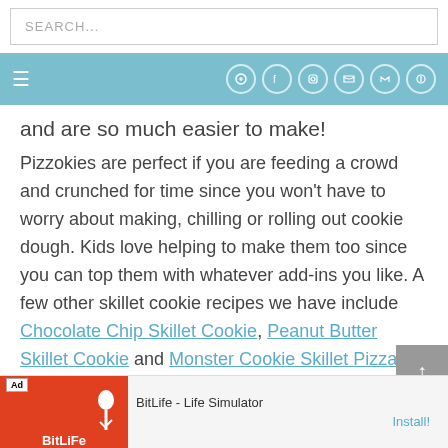SEARCH...
navigation bar with social icons
and are so much easier to make!
Pizzokies are perfect if you are feeding a crowd and crunched for time since you won't have to worry about making, chilling or rolling out cookie dough. Kids love helping to make them too since you can top them with whatever add-ins you like. A few other skillet cookie recipes we have include Chocolate Chip Skillet Cookie, Peanut Butter Skillet Cookie and Monster Cookie Skillet Pizza.
[Figure (screenshot): BitLife - Life Simulator advertisement banner at bottom of page]